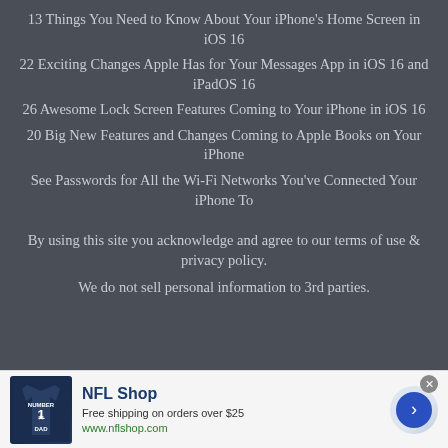13 Things You Need to Know About Your iPhone's Home Screen in iOS 16
22 Exciting Changes Apple Has for Your Messages App in iOS 16 and iPadOS 16
26 Awesome Lock Screen Features Coming to Your iPhone in iOS 16
20 Big New Features and Changes Coming to Apple Books on Your iPhone
See Passwords for All the Wi-Fi Networks You've Connected Your iPhone To
By using this site you acknowledge and agree to our terms of use & privacy policy.
We do not sell personal information to 3rd parties.
[Figure (other): NFL Shop advertisement with jersey image, free shipping offer, and arrow button]